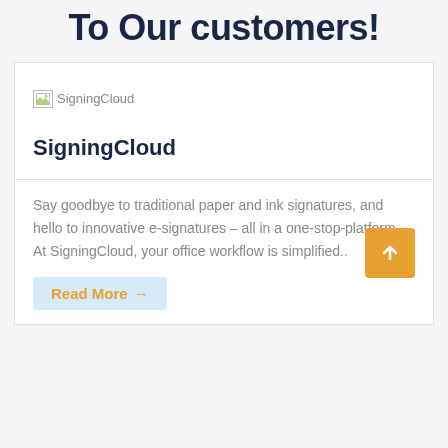To Our customers!
[Figure (logo): Broken image placeholder with alt text 'SigningCloud']
SigningCloud
Say goodbye to traditional paper and ink signatures, and hello to innovative e-signatures – all in a one-stop-platform. At SigningCloud, your office workflow is simplified..
Read More →